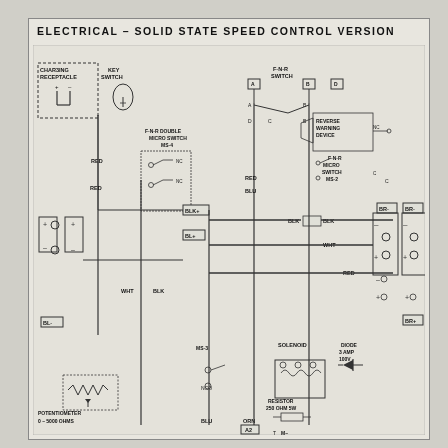ELECTRICAL – SOLID STATE SPEED CONTROL VERSION
[Figure (schematic): Electrical wiring schematic for solid state speed control version of a golf cart or similar vehicle. Shows charging receptacle, key switch, F-N-R double micro switch MS-4, F-N-R switch with positions A/B/C/D, reverse warning device, F-N-R micro switch MS-2, BLK+ and BL+ battery connections, potentiometer 0-5000 ohms, MS-3 micro switch, solenoid, diode 3 amp 100V, resistor 250 ohm 5W, and BR+/BR- battery terminals. Wire colors include RED, BLK, WHT, BLU, ORN.]